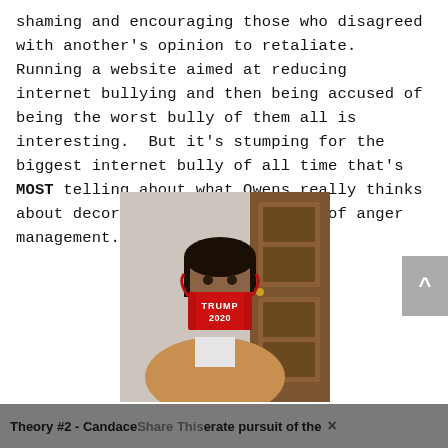shaming and encouraging those who disagreed with another's opinion to retaliate.  Running a website aimed at reducing internet bullying and then being accused of being the worst bully of them all is interesting.  But it's stumping for the biggest internet bully of all time that's MOST telling about what Owens really thinks about decorum and the importance of anger management.
[Figure (photo): A woman wearing a red face mask that reads 'TRUMP 2020', wearing a tan coat and white shirt, standing in front of a wooden door.]
Theory #2 - Candace Share This erate pursuit of the ×